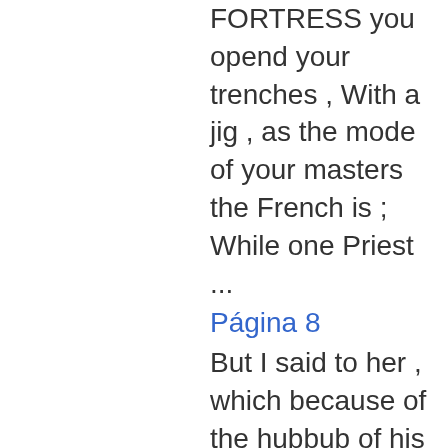FORTRESS you opend your trenches , With a jig , as the mode of your masters the French is ; While one Priest ...
Página 8
But I said to her , which because of the hubbub of his Majesty's was the fact , " I am come on business ; royal coronation , which happened to no that I object to look at the crowning take place while I was there .
Página 9
... mair I said to con . forth in " The Picture of London , " a vince her that I had a very important book which I bought on the